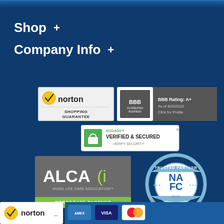Shop  +
Company Info  +
[Figure (logo): Norton Shopping Guarantee badge - checkmark with norton text, SHOPPING GUARANTEE]
[Figure (logo): BBB Accredited Business badge - BBB logo, ACCREDITED BUSINESS text, BBB Rating: A+, As of 8/20/2022, Click for Profile]
[Figure (logo): GoDaddy Verified & Secured - VERIFY SECURITY badge]
[Figure (logo): ALCA - Aging Life Care Association Corporate Partner badge]
[Figure (logo): NAFC Trusted Partner 2021 seal]
[Figure (logo): Norton footer badge with checkmark]
[Figure (logo): Payment method icons: American Express, Visa, Mastercard]